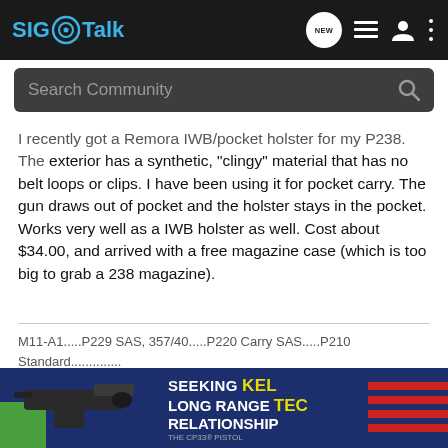SIG Talk
I recently got a Remora IWB/pocket holster for my P238. The exterior has a synthetic, "clingy" material that has no belt loops or clips. I have been using it for pocket carry. The gun draws out of pocket and the holster stays in the pocket. Works very well as a IWB holster as well. Cost about $34.00, and arrived with a free magazine case (which is too big to grab a 238 magazine).
M11-A1.....P229 SAS, 357/40.....P220 Carry SAS.....P210 Standard..............
[Figure (screenshot): Kel-Tec CP33 pistol advertisement banner at bottom of page]